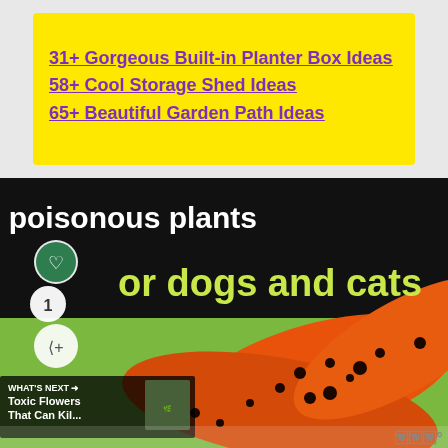31+ Gorgeous Built-in Planter Box Ideas
58+ Cool Storage Shed Ideas
65+ Beautiful Garden Path Ideas
[Figure (screenshot): Banner image with black background showing text '15 poisonous plants for dogs and cats' in large yellow-green font. Left side has social media overlay icons (heart, share with number 1). Bottom-left overlay shows 'WHAT'S NEXT → Toxic Flowers That Can Kil...' with a thumbnail. Bottom portion shows an orange spotted flower/lily with green background. Bottom right corner shows a 'w' logo watermark.]